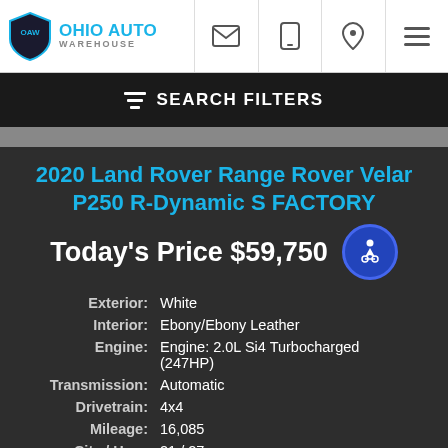[Figure (logo): Ohio Auto Warehouse logo with shield icon and blue text]
2020 Land Rover Range Rover Velar P250 R-Dynamic S FACTORY
Today's Price $59,750
| Label | Value |
| --- | --- |
| Exterior: | White |
| Interior: | Ebony/Ebony Leather |
| Engine: | Engine: 2.0L Si4 Turbocharged (247HP) |
| Transmission: | Automatic |
| Drivetrain: | 4x4 |
| Mileage: | 16,085 |
| City / Hwy: | 21 / 27 |
| VIN: | SALYK2EX8LA287237 |
| Warranty: | Factory Warranty Remaining |